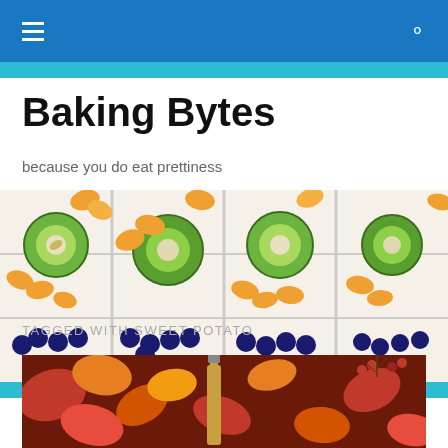Baking Bytes navigation bar
Baking Bytes
because you do eat prettiness
[Figure (photo): Fruit tarts topped with kiwi slices, mandarin orange segments, and blueberries arranged in a grid pattern]
TAGGED WITH SWEET POTATO
[Figure (photo): Autumn themed image with colorful fall leaves in red, orange and gold with a bottle and red berries]